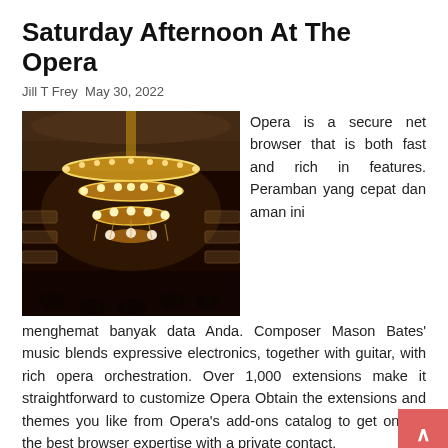Saturday Afternoon At The Opera
Jill T Frey  May 30, 2022
[Figure (photo): Interior of an opera house showing a grand chandelier with warm golden lighting, ornate ceiling decorations and tiered balconies in the background.]
Opera is a secure net browser that is both fast and rich in features. Peramban yang cepat dan aman ini menghemat banyak data Anda. Composer Mason Bates' music blends expressive electronics, together with guitar, with rich opera orchestration. Over 1,000 extensions make it straightforward to customize Opera Obtain the extensions and themes you like from Opera's add-ons catalog to get one of the best browser expertise with a private contact.